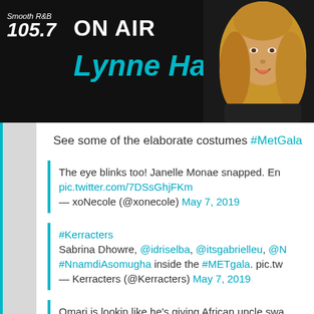[Figure (screenshot): Radio station website header for Smooth R&B 105.7. Black background with white ON AIR text, cyan/teal 'Lynne Haze' name, navigation links 'acebook' and 'last 10 song', a teal circle, and a photo of a woman with long wavy blonde hair.]
See some of the elaborate costumes #MetGala
The eye blinks too! Janelle Monae snapped. En
pic.twitter.com/7DSsGhjFKm
— xoNecole (@xonecole) May 7, 2019
#Kerracters
Sabrina Dhowre, @idriselba, @itsgabrielleu, @N
#NnamdiAsomugha inside the #METgala. pic.tw
— Kerracters (@Kerracters) May 7, 2019
Omari is lookin like he's giving African uncle swa
— CocoaSwatches (@CocoaSwatches) May 6